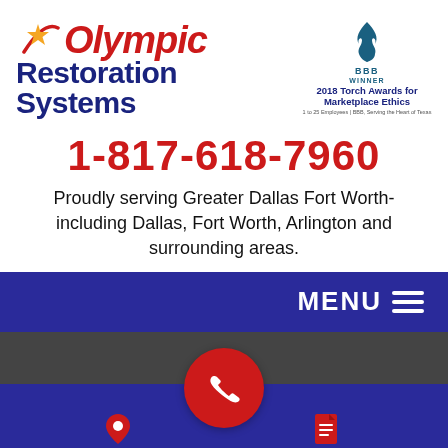[Figure (logo): Olympic Restoration Systems logo with red italic 'Olympic' text, gold star, red swoosh, and dark blue bold 'Restoration Systems' text below]
[Figure (logo): BBB Better Business Bureau logo with blue flame/torch icon, 'BBB WINNER 2018 Torch Awards for Marketplace Ethics, 1 to 25 Employees | BBB, Serving the Heart of Texas']
1-817-618-7960
Proudly serving Greater Dallas Fort Worth- including Dallas, Fort Worth, Arlington and surrounding areas.
[Figure (screenshot): Dark navy navigation bar with MENU and hamburger icon on the right, followed by a dark gray band, and a dark navy bottom bar with Service Area icon on left, red phone call circle button in center, and Free Estimate icon on right]